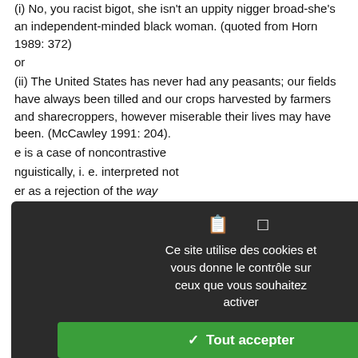(i) No, you racist bigot, she isn't an uppity nigger broad-she's an independent-minded black woman. (quoted from Horn 1989: 372)
or
(ii) The United States has never had any peasants; our fields have always been tilled and our crops harvested by farmers and sharecroppers, however miserable their lives may have been. (McCawley 1991: 204).
e is a case of noncontrastive nguistically, i. e. interpreted not er as a rejection of the way entence is expressed" e, one can argue, as was negated is, in fact, not the way hat stand behind the forms to convey is not so much on McCawley distinguishes contrastive negations such as glish, basing his explanation o classes of negative the negated lexical scales ir possible uses, as a ation type. aving a visiting lecturer. e having a visiting lecturer.
Ce site utilise des cookies et vous donne le contrôle sur ceux que vous souhaitez activer
✓ Tout accepter
✗ Tout refuser
Personnaliser
Politique de confidentialité